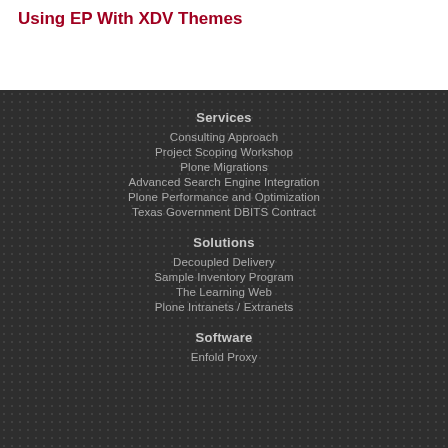Using EP With XDV Themes
Services
Consulting Approach
Project Scoping Workshop
Plone Migrations
Advanced Search Engine Integration
Plone Performance and Optimization
Texas Government DBITS Contract
Solutions
Decoupled Delivery
Sample Inventory Program
The Learning Web
Plone Intranets / Extranets
Software
Enfold Proxy